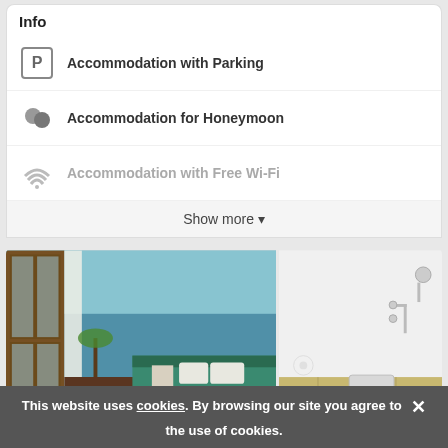Info
Accommodation with Parking
Accommodation for Honeymoon
Accommodation with Free Wi-Fi
Show more ▾
[Figure (photo): Two photos: left shows a hotel room interior with beachfront view through glass doors; right shows a bathroom with toilet and wooden floor]
Peace Garden B
Categories  1
This website uses cookies. By browsing our site you agree to the use of cookies.